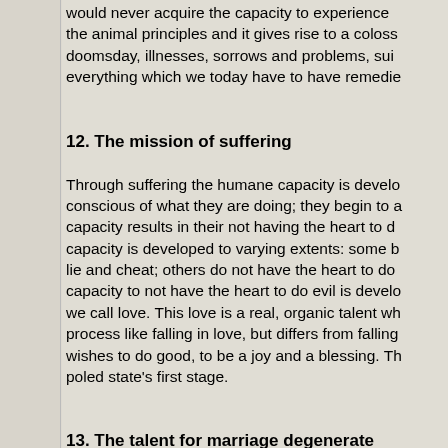would never acquire the capacity to experience the animal principles and it gives rise to a coloss doomsday, illnesses, sorrows and problems, sui everything which we today have to have remedie
12. The mission of suffering
Through suffering the humane capacity is develo conscious of what they are doing; they begin to a capacity results in their not having the heart to d capacity is developed to varying extents: some b lie and cheat; others do not have the heart to do capacity to not have the heart to do evil is develo we call love. This love is a real, organic talent wh process like falling in love, but differs from falling wishes to do good, to be a joy and a blessing. Th poled state's first stage.
13. The talent for marriage degenerate
As the talent for sympathy develops, the beings